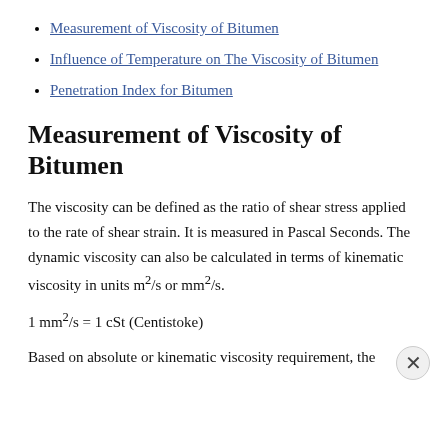Measurement of Viscosity of Bitumen
Influence of Temperature on The Viscosity of Bitumen
Penetration Index for Bitumen
Measurement of Viscosity of Bitumen
The viscosity can be defined as the ratio of shear stress applied to the rate of shear strain. It is measured in Pascal Seconds. The dynamic viscosity can also be calculated in terms of kinematic viscosity in units m²/s or mm²/s.
1 mm²/s = 1 cSt (Centistoke)
Based on absolute or kinematic viscosity requirement, the